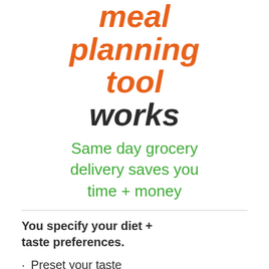meal planning tool works
Same day grocery delivery saves you time + money
You specify your diet + taste preferences.
Preset your taste menu to paleo, mediterranean, keto, vegan, etc.